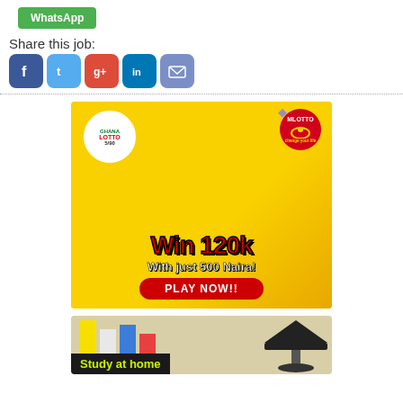[Figure (other): WhatsApp share button (green)]
Share this job:
[Figure (other): Social media sharing icons: Facebook, Twitter, Google+, LinkedIn, Email]
[Figure (other): Ghana Lotto advertisement: Win 120k with just 500 Naira! Play Now!! MLotto Ghana Lotto 5/90]
[Figure (other): Study at home advertisement with graduation cap]